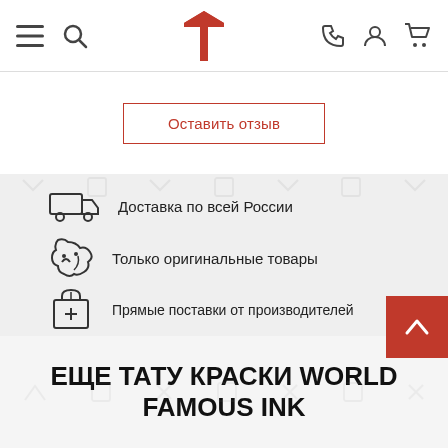Navigation bar with menu, search, logo, phone, account, cart icons
Оставить отзыв
Доставка по всей России
Только оригинальные товары
Прямые поставки от производителей
Лучшие оптовые и розничные цены
ЕЩЕ ТАТУ КРАСКИ WORLD FAMOUS INK